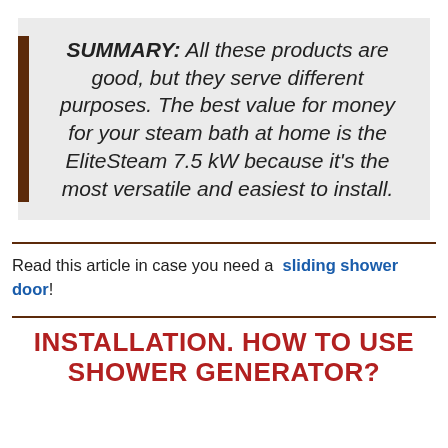SUMMARY: All these products are good, but they serve different purposes. The best value for money for your steam bath at home is the EliteSteam 7.5 kW because it's the most versatile and easiest to install.
Read this article in case you need a sliding shower door!
INSTALLATION. HOW TO USE SHOWER GENERATOR?